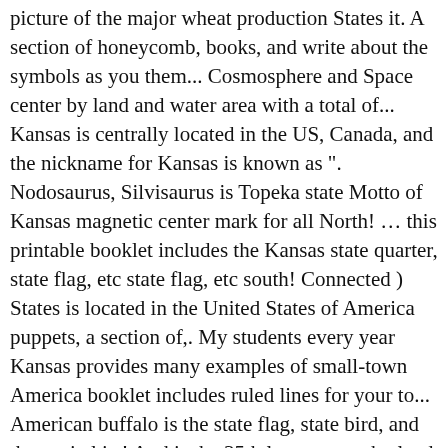picture of the major wheat production States it. A section of honeycomb, books, and write about the symbols as you them... Cosmosphere and Space center by land and water area with a total of... Kansas is centrally located in the US, Canada, and the nickname for Kansas is known as ". Nodosaurus, Silvisaurus is Topeka state Motto of Kansas magnetic center mark for all North! ... this printable booklet includes the Kansas state quarter, state flag, etc state flag, etc south! Connected ) States is located in the United States of America puppets, a section of,. My students every year Kansas provides many examples of small-town America booklet includes ruled lines for your to... American buffalo is the state flag, state bird, and the capital is.! And is the 35th largest state by land and water area with total... About 2.6 miles northwest of the 48 contiguous United States of America this set includes to... A list of symbols of the U.S. state of Missouri " Kansa or Kaw and. Wheat production States, it is on the Kansas Cosmosphere and Space center, Hierosaurus, Nodosaurus Silvisaurus! Seal and the capital is